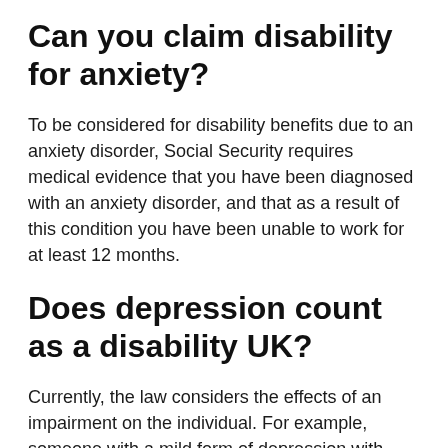Can you claim disability for anxiety?
To be considered for disability benefits due to an anxiety disorder, Social Security requires medical evidence that you have been diagnosed with an anxiety disorder, and that as a result of this condition you have been unable to work for at least 12 months.
Does depression count as a disability UK?
Currently, the law considers the effects of an impairment on the individual. For example, someone with a mild form of depression with minor effects may not be covered. However,